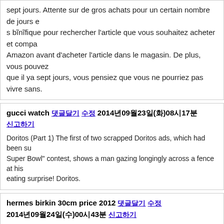sept jours. Attente sur de gros achats pour un certain nombre de jours e… s bénéfique pour rechercher l'article que vous souhaitez acheter et compa… Amazon avant d'acheter l'article dans le magasin. De plus, vous pouvez … que il ya sept jours, vous pensiez que vous ne pourriez pas vivre sans.
gucci watch 댓글달기 수정 2014년09월23일(화)08시17분 신고하기 — Doritos (Part 1) The first of two scrapped Doritos ads, which had been su… Super Bowl" contest, shows a man gazing longingly across a fence at his eating surprise! Doritos.
hermes birkin 30cm price 2012 댓글달기 수정 2014년09월24일(수)00시43분 신고하기 — novara.com
michael kors laptop bag review 댓글달기 수정 2014년09월24일(수)11시47분 신고하기 — Groupes : EMS Group Metal Solutions 3 contactsPoste actuel :Basson so… MulhousePoste pr :BassonMusique des Gardiens de la Paix de ParisEco… Musique Et De DanseBlair Waldorf